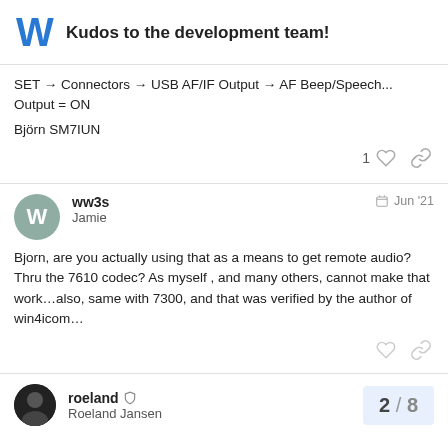Kudos to the development team!
SET → Connectors → USB AF/IF Output → AF Beep/Speech... Output = ON
Björn SM7IUN
ww3s Jamie Jun '21
Bjorn, are you actually using that as a means to get remote audio? Thru the 7610 codec? As myself , and many others, cannot make that work…also, same with 7300, and that was verified by the author of win4icom…
roeland Roeland Jansen 2 / 8